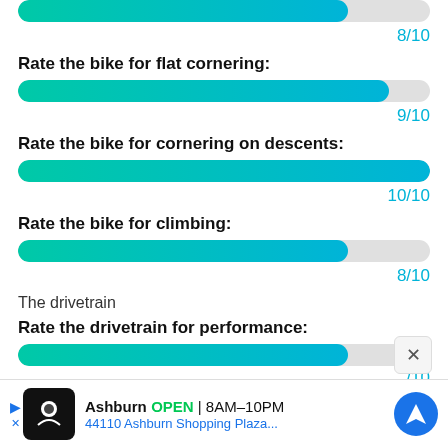[Figure (infographic): Progress bar showing 8/10 rating (partial, top of page cropped)]
8/10
Rate the bike for flat cornering:
[Figure (infographic): Progress bar showing 9/10 rating for flat cornering]
9/10
Rate the bike for cornering on descents:
[Figure (infographic): Progress bar showing 10/10 rating for cornering on descents]
10/10
Rate the bike for climbing:
[Figure (infographic): Progress bar showing 8/10 rating for climbing]
8/10
The drivetrain
Rate the drivetrain for performance:
[Figure (infographic): Progress bar for drivetrain performance (partially visible)]
/10
Rat
[Figure (infographic): Advertisement overlay: Ashburn OPEN 8AM-10PM, 44110 Ashburn Shopping Plaza...]